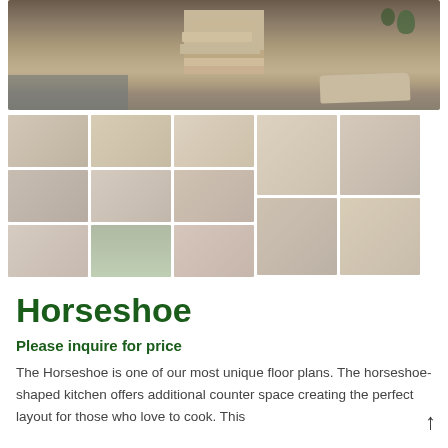[Figure (photo): Exterior photo of a house with stone steps, landscaping with mulch and shrubs, and a large flat stone in the foreground]
[Figure (photo): Grid of 12 thumbnail photos showing interior and exterior views of the Horseshoe floor plan property]
Horseshoe
Please inquire for price
The Horseshoe is one of our most unique floor plans. The horseshoe-shaped kitchen offers additional counter space creating the perfect layout for those who love to cook. This